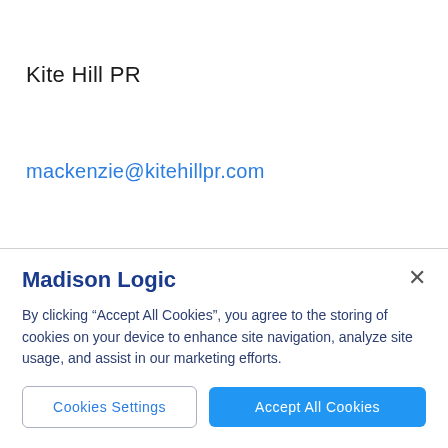Kite Hill PR
mackenzie@kitehillpr.com
Madison Logic
By clicking "Accept All Cookies", you agree to the storing of cookies on your device to enhance site navigation, analyze site usage, and assist in our marketing efforts.
Cookies Settings
Accept All Cookies